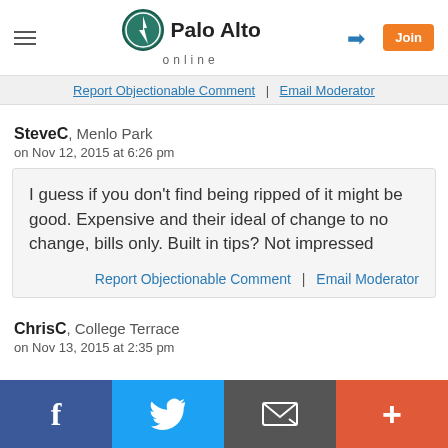Palo Alto online
Report Objectionable Comment | Email Moderator
SteveC, Menlo Park
on Nov 12, 2015 at 6:26 pm
I guess if you don't find being ripped of it might be good. Expensive and their ideal of change to no change, bills only. Built in tips? Not impressed
Report Objectionable Comment | Email Moderator
ChrisC, College Terrace
on Nov 13, 2015 at 2:35 pm
Facebook | Twitter | Email | Plus